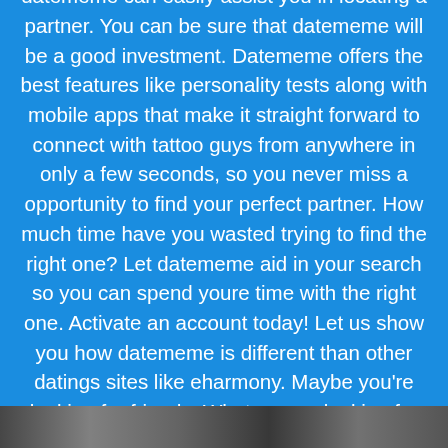Announcing datememe, a 100% free online dating service where you can meet tattoo guys looking for marriage in Le Bouscat. With tons of new users all the time, datememe can easily assist you in locating a partner. You can be sure that datememe will be a good investment. Datememe offers the best features like personality tests along with mobile apps that make it straight forward to connect with tattoo guys from anywhere in only a few seconds, so you never miss a opportunity to find your perfect partner. How much time have you wasted trying to find the right one? Let datememe aid in your search so you can spend youre time with the right one. Activate an account today! Let us show you how datememe is different than other datings sites like eharmony. Maybe you're looking for friends. What we are looking for changes as we go through life. Simply adjust your profile and feel confident that you will find precisely what you are looking for at the ideal time for you.
[Figure (photo): A horizontal strip of photos at the bottom of the page, partially visible]